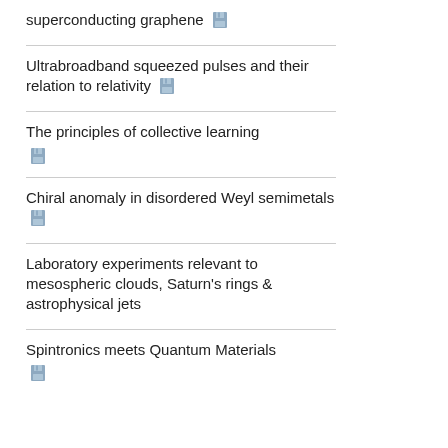superconducting graphene
Ultrabroadband squeezed pulses and their relation to relativity
The principles of collective learning
Chiral anomaly in disordered Weyl semimetals
Laboratory experiments relevant to mesospheric clouds, Saturn's rings & astrophysical jets
Spintronics meets Quantum Materials